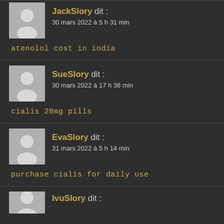JackSlory dit : 30 mars 2022 à 5 h 31 min
atenolol cost in india
SueSlory dit : 30 mars 2022 à 17 h 36 min
cialis 20mg pills
EvaSlory dit : 31 mars 2022 à 5 h 14 min
purchase cialis for daily use
IvuSlory dit :